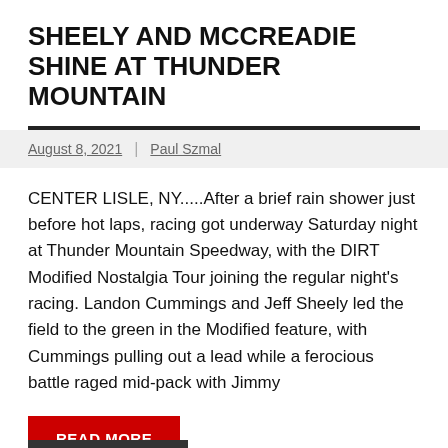SHEELY AND MCCREADIE SHINE AT THUNDER MOUNTAIN
August 8, 2021 | Paul Szmal
CENTER LISLE, NY.....After a brief rain shower just before hot laps, racing got underway Saturday night at Thunder Mountain Speedway, with the DIRT Modified Nostalgia Tour joining the regular night's racing. Landon Cummings and Jeff Sheely led the field to the green in the Modified feature, with Cummings pulling out a lead while a ferocious battle raged mid-pack with Jimmy
READ MORE